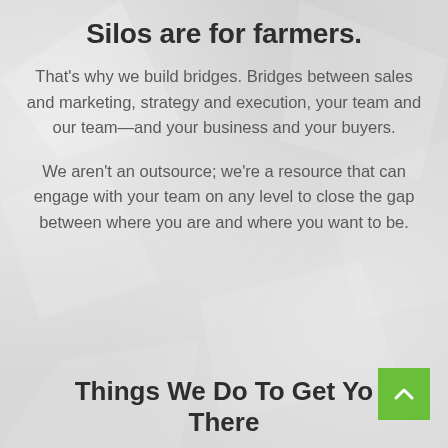Silos are for farmers.
That's why we build bridges. Bridges between sales and marketing, strategy and execution, your team and our team—and your business and your buyers.
We aren't an outsource; we're a resource that can engage with your team on any level to close the gap between where you are and where you want to be.
Things We Do To Get Yo There